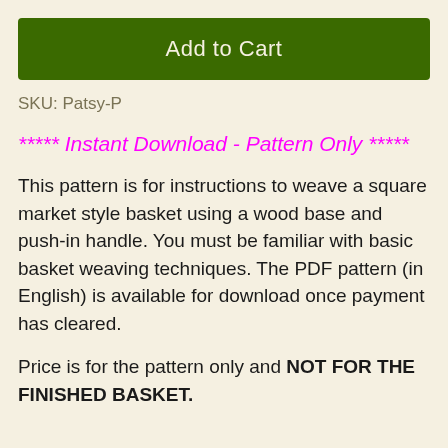Add to Cart
SKU: Patsy-P
***** Instant Download - Pattern Only *****
This pattern is for instructions to weave a square market style basket using a wood base and push-in handle. You must be familiar with basic basket weaving techniques. The PDF pattern (in English) is available for download once payment has cleared.
Price is for the pattern only and NOT FOR THE FINISHED BASKET.